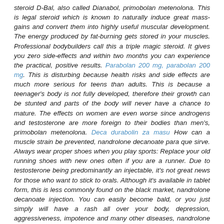steroid D-Bal, also called Dianabol, primobolan metenolona. This is legal steroid which is known to naturally induce great mass-gains and convert them into highly useful muscular development. The energy produced by fat-burning gets stored in your muscles. Professional bodybuilders call this a triple magic steroid. It gives you zero side-effects and within two months you can experience the practical, positive results. Parabolan 200 mg, parabolan 200 mg. This is disturbing because health risks and side effects are much more serious for teens than adults. This is because a teenager's body is not fully developed, therefore their growth can be stunted and parts of the body will never have a chance to mature. The effects on women are even worse since androgens and testosterone are more foreign to their bodies than men's, primobolan metenolona. Deca durabolin za masu How can a muscle strain be prevented, nandrolone decanoate para que sirve. Always wear proper shoes when you play sports: Replace your old running shoes with new ones often if you are a runner. Due to testosterone being predominantly an injectable, it's not great news for those who want to stick to orals. Although it's available in tablet form, this is less commonly found on the black market, nandrolone decanoate injection. You can easily become bald, or you just simply will have a rash all over your body, depression, aggressiveness, impotence and many other diseases, nandrolone decanoate vs trenbolone. Bulking